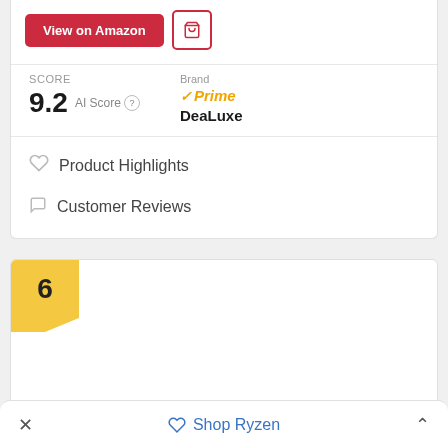View on Amazon
SCORE 9.2 AI Score
Brand ✓Prime DeaLuxe
♡ Product Highlights
□ Customer Reviews
6
× Shop Ryzen ^